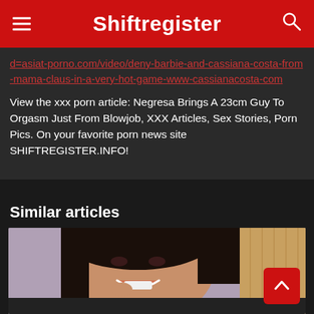Shiftregister
d=asiat-porno.com/video/deny-barbie-and-cassiana-costa-from-mama-claus-in-a-very-hot-game-www-cassianacosta-com
View the xxx porn article: Negresa Brings A 23cm Guy To Orgasm Just From Blowjob, XXX Articles, Sex Stories, Porn Pics. On your favorite porn news site SHIFTREGISTER.INFO!
Similar articles
[Figure (photo): A woman with dark hair smiling, close-up portrait photo]